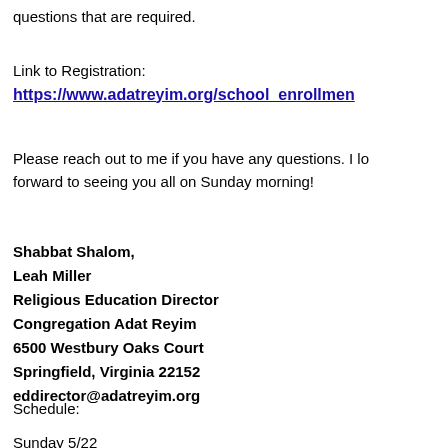questions that are required.
Link to Registration:
https://www.adatreyim.org/school_enrollmen
Please reach out to me if you have any questions. I lo forward to seeing you all on Sunday morning!
Shabbat Shalom,
Leah Miller
Religious Education Director
Congregation Adat Reyim
6500 Westbury Oaks Court
Springfield, Virginia 22152
eddirector@adatreyim.org
Schedule:
Sunday 5/22